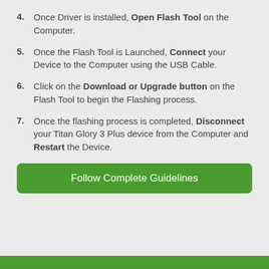4. Once Driver is installed, Open Flash Tool on the Computer.
5. Once the Flash Tool is Launched, Connect your Device to the Computer using the USB Cable.
6. Click on the Download or Upgrade button on the Flash Tool to begin the Flashing process.
7. Once the flashing process is completed, Disconnect your Titan Glory 3 Plus device from the Computer and Restart the Device.
Follow Complete Guidelines